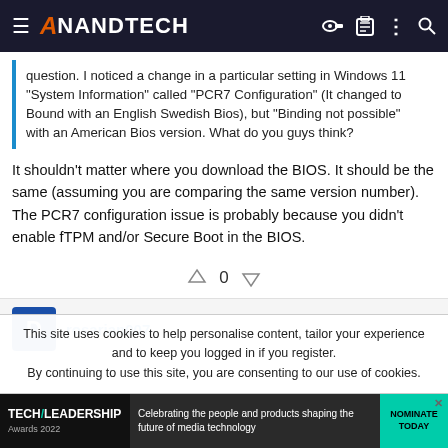AnandTech
question. I noticed a change in a particular setting in Windows 11 "System Information" called "PCR7 Configuration" (It changed to Bound with an English Swedish Bios), but "Binding not possible" with an American Bios version. What do you guys think?
It shouldn't matter where you download the BIOS. It should be the same (assuming you are comparing the same version number). The PCR7 configuration issue is probably because you didn't enable fTPM and/or Secure Boot in the BIOS.
0
rosarian007